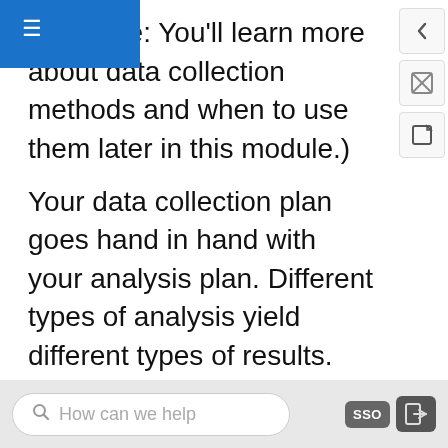ed. (Note: You'll learn more about data collection methods and when to use them later in this module.)
Your data collection plan goes hand in hand with your analysis plan. Different types of analysis yield different types of results. The analysis plan should match the type of data you are collecting, as well as the outcomes your project is seeking and the resources at your disposal. Simpler research designs tend to require simpler analysis techniques. More complex research designs can yield powerful results, such as understanding causality and trade-offs in customer perceptions. However, these more sophisticated designs can require more time and money to execute effectively, both in terms of data collection and
How can we help   SSO